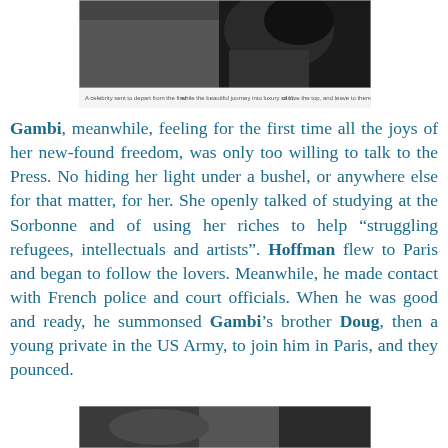[Figure (photo): Black and white photograph at top of page, partially visible, with caption text below it.]
Gambi, meanwhile, feeling for the first time all the joys of her new-found freedom, was only too willing to talk to the Press. No hiding her light under a bushel, or anywhere else for that matter, for her. She openly talked of studying at the Sorbonne and of using her riches to help "struggling refugees, intellectuals and artists". Hoffman flew to Paris and began to follow the lovers. Meanwhile, he made contact with French police and court officials. When he was good and ready, he summonsed Gambi's brother Doug, then a young private in the US Army, to join him in Paris, and they pounced.
[Figure (photo): Black and white photograph at bottom of page, partially visible.]